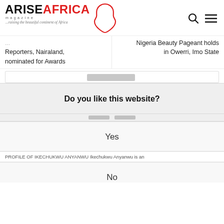[Figure (logo): Arise Africa Magazine logo with red Africa continent outline, tagline '...raising the beautiful continent of Africa']
Reporters, Nairaland, nominated for Awards
Nigeria Beauty Pageant holds in Owerri, Imo State
Do you like this website?
Yes
PROFILE OF IKECHUKWU ANYANWU Ikechukwu Anyanwu is an
No